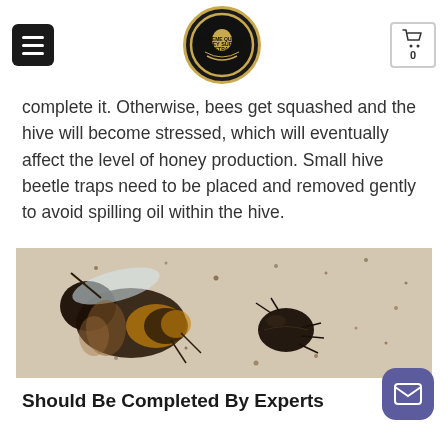Menu | Honey Supers Australia Logo | Cart (0)
complete it. Otherwise, bees get squashed and the hive will become stressed, which will eventually affect the level of honey production. Small hive beetle traps need to be placed and removed gently to avoid spilling oil within the hive.
[Figure (photo): Close-up photo of a honey bee next to a small hive beetle on a light-colored surface with debris/frass scattered around.]
Should Be Completed By Experts